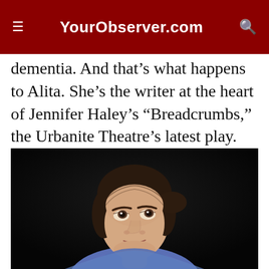YourObserver.com
dementia. And that’s what happens to Alita. She’s the writer at the heart of Jennifer Haley’s “Breadcrumbs,” the Urbanite Theatre’s latest play.
[Figure (photo): A woman with dark hair pulled back, wearing a blue top, looking upward with a concerned or contemplative expression against a dark background. Theatrical stage photo.]